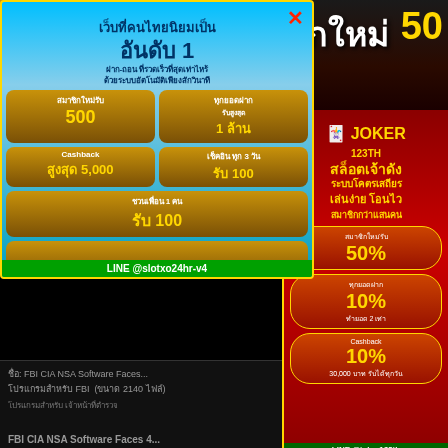[Figure (screenshot): Thai gambling website SWIN99TH top banner with logo and text สมัครสมาชิกใหม่ 50, ทำเทิร์น 3 เท่า]
[Figure (screenshot): Left popup ad for Thai online casino - เว็บที่คนไทยนิยมเป็น อันดับ 1 with bonus details: สมาชิกใหม่รับ 500, Cashback สูงสุด 5,000, ชวนเพื่อน 1 คน รับ 100, LINE @slotxo24hr-v4]
Computer > Programs Zone (... NSA Software Faces 4.0 [MF] ...
ชื่อ: FBI CIA NSA Software Faces... โปรแกรมสำหรับ FBI (ขนาด 2140 ...) ...
FBI CIA NSA Software Faces 4...
[Figure (screenshot): Right red ad for JOKER123TH casino - สล็อตเจ้าดัง ระบบโคตรเสถียร เล่นง่าย โอนไว สมาชิกกว่าแสนคน, bonus buttons: สมาชิกใหม่รับ 50%, ทุกยอดฝาก 10%, Cashback 10%, LINE @joker123th]